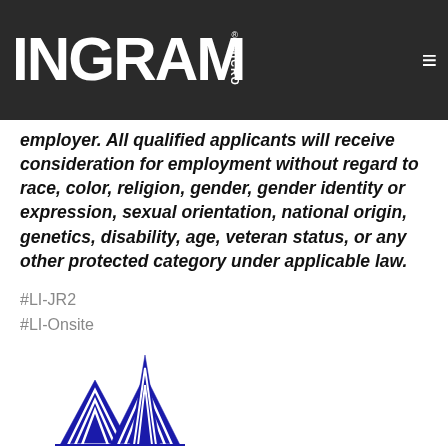Ingram Micro navigation bar with logo
employer. All qualified applicants will receive consideration for employment without regard to race, color, religion, gender, gender identity or expression, sexual orientation, national origin, genetics, disability, age, veteran status, or any other protected category under applicable law.
#LI-JR2
#LI-Onsite
[Figure (logo): The Phoenix Group - An Ingram Micro Company logo with blue mountain/pyramid shapes]